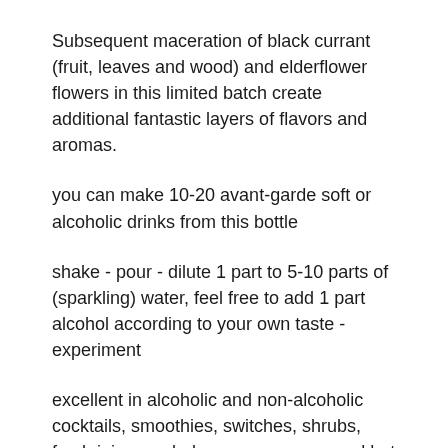Subsequent maceration of black currant (fruit, leaves and wood) and elderflower flowers in this limited batch create additional fantastic layers of flavors and aromas.
you can make 10-20 avant-garde soft or alcoholic drinks from this bottle
shake - pour - dilute 1 part to 5-10 parts of (sparkling) water, feel free to add 1 part alcohol according to your own taste - experiment
excellent in alcoholic and non-alcoholic cocktails, smoothies, switches, shrubs, fresh juices, salads, soups, sauces and hot drinks
if you drink apple cider vinegar regularly, the